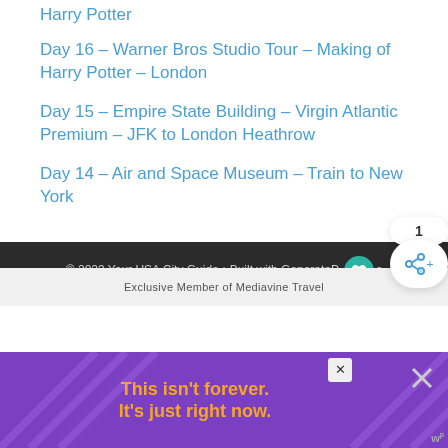Harry Potter
Day 16 – Warner Bros Studio Tour – Making of Harry Potter – London
Day 15 – Empire State Building – Virgin Atlantic Premium – JFK to London Heathrow
Day 14 – Air and Space Museum – Train to New York
© 2022 Your USA City Guide • Built with GeneratePress
Exclusive Member of Mediavine Travel
[Figure (other): Advertisement banner: purple background with orange text 'This isn't forever. It's just right now.']